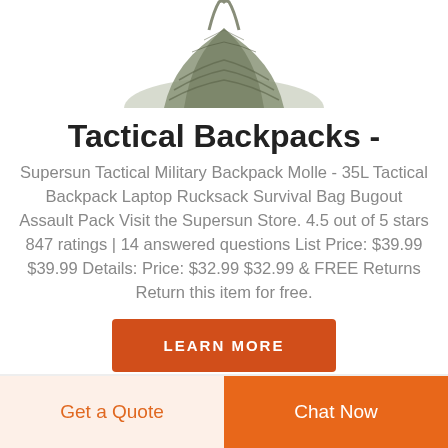[Figure (photo): Partial view of a tactical/military backpack with molle webbing, shown from above, cropped at top of page]
Tactical Backpacks -
Supersun Tactical Military Backpack Molle - 35L Tactical Backpack Laptop Rucksack Survival Bag Bugout Assault Pack Visit the Supersun Store. 4.5 out of 5 stars 847 ratings | 14 answered questions List Price: $39.99 $39.99 Details: Price: $32.99 $32.99 & FREE Returns Return this item for free.
LEARN MORE
Get a Quote
Chat Now